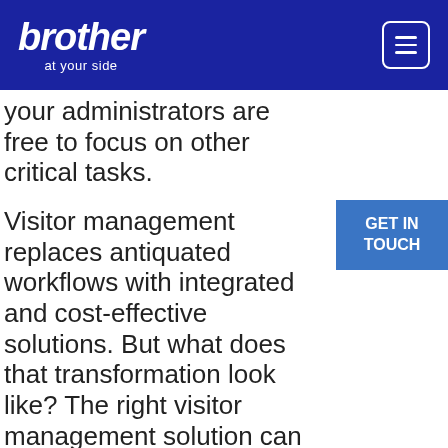brother at your side
your administrators are free to focus on other critical tasks.
Visitor management replaces antiquated workflows with integrated and cost-effective solutions. But what does that transformation look like? The right visitor management solution can provide a robust range of productive benefits:
Automated visitor registration and...